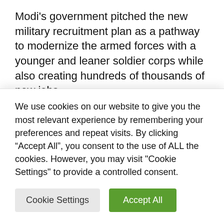Modi's government pitched the new military recruitment plan as a pathway to modernize the armed forces with a younger and leaner soldier corps while also creating hundreds of thousands of new jobs.
Speaking to Al Jazeera, Ghazala Wahab, executive editor of Force magazine, said the problem with the new army recruitment
We use cookies on our website to give you the most relevant experience by remembering your preferences and repeat visits. By clicking “Accept All”, you consent to the use of ALL the cookies. However, you may visit "Cookie Settings" to provide a controlled consent.